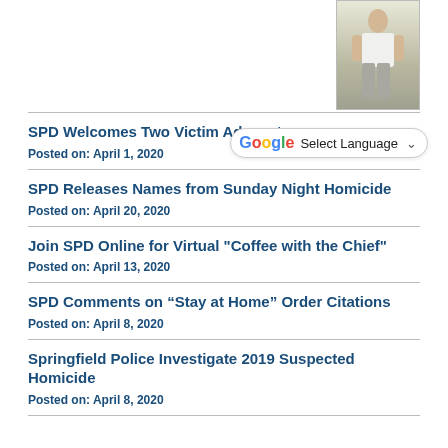[Figure (photo): Partial photo of a person standing outdoors, cropped to show lower body in white top and grey pants]
SPD Welcomes Two Victim Advocates
Posted on: April 1, 2020
SPD Releases Names from Sunday Night Homicide
Posted on: April 20, 2020
Join SPD Online for Virtual "Coffee with the Chief"
Posted on: April 13, 2020
SPD Comments on “Stay at Home” Order Citations
Posted on: April 8, 2020
Springfield Police Investigate 2019 Suspected Homicide
Posted on: April 8, 2020